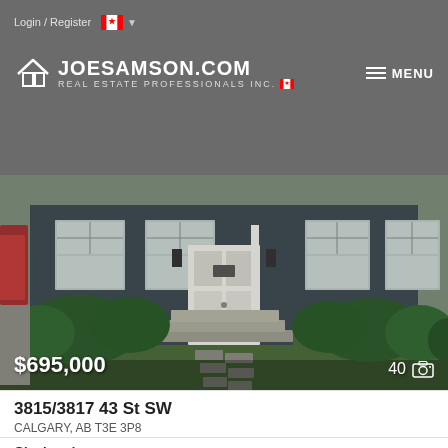Login / Register
[Figure (logo): JoeSamson.com Real Estate Professionals Inc. logo with house icon and Canadian flag]
[Figure (photo): Front exterior of a dark grey/blue house with concrete steps, white front door, green lawn and stepping stone path, lush shrubs]
$695,000
40
3815/3817 43 St SW
CALGARY, AB T3E 3P8
Glenbrook
2,240
Sq.Ft.
Exp Realty